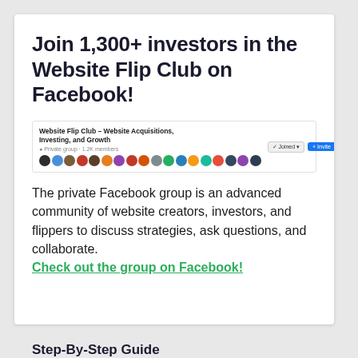Join 1,300+ investors in the Website Flip Club on Facebook!
[Figure (screenshot): Screenshot of Facebook group 'Website Flip Club - Website Acquisitions, Investing, and Growth' showing member avatars, private group label with 1.2K members, and Joined/Invite buttons]
The private Facebook group is an advanced community of website creators, investors, and flippers to discuss strategies, ask questions, and collaborate. Check out the group on Facebook!
Step-By-Step Guide